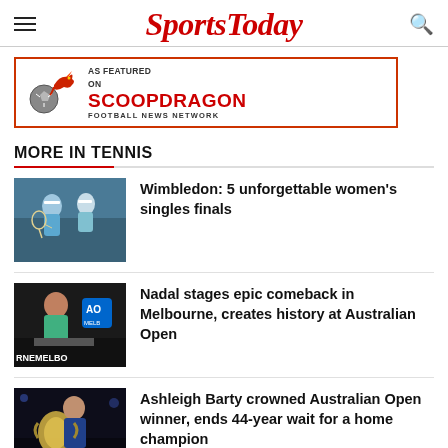SportsToday
[Figure (other): Advertisement banner: AS FEATURED ON SCOOPDRAGON FOOTBALL NEWS NETWORK with dragon/soccer ball logo]
MORE IN TENNIS
[Figure (photo): Two female tennis players at Wimbledon]
Wimbledon: 5 unforgettable women's singles finals
[Figure (photo): Rafael Nadal at Australian Open press conference, Melbourne backdrop]
Nadal stages epic comeback in Melbourne, creates history at Australian Open
[Figure (photo): Ashleigh Barty holding Australian Open trophy]
Ashleigh Barty crowned Australian Open winner, ends 44-year wait for a home champion